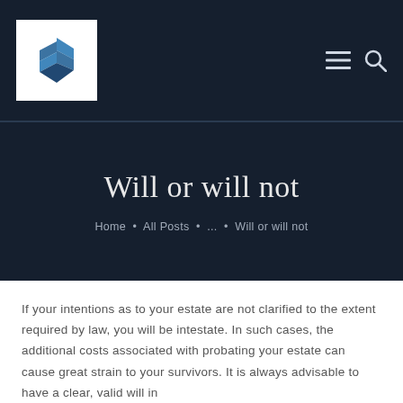[Figure (logo): Letter S logo mark in blue with layered/stacked appearance on white square background]
Will or will not
Home • All Posts • ... • Will or will not
If your intentions as to your estate are not clarified to the extent required by law, you will be intestate. In such cases, the additional costs associated with probating your estate can cause great strain to your survivors. It is always advisable to have a clear, valid will in